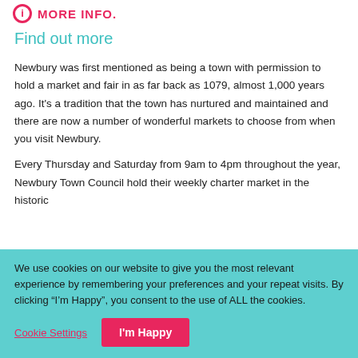MORE INFO.
Find out more
Newbury was first mentioned as being a town with permission to hold a market and fair in as far back as 1079, almost 1,000 years ago. It's a tradition that the town has nurtured and maintained and there are now a number of wonderful markets to choose from when you visit Newbury.
Every Thursday and Saturday from 9am to 4pm throughout the year, Newbury Town Council hold their weekly charter market in the historic
We use cookies on our website to give you the most relevant experience by remembering your preferences and your repeat visits. By clicking “I’m Happy”, you consent to the use of ALL the cookies.
Cookie Settings
I'm Happy